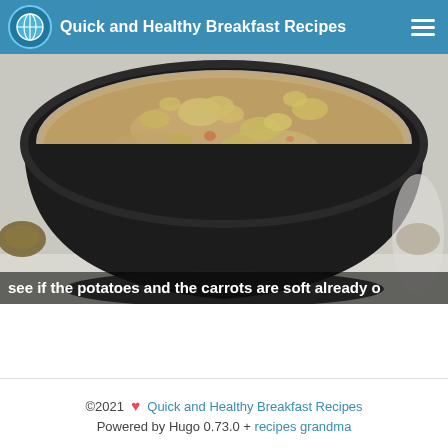Quick and Healthy Breakfast Recipes
[Figure (photo): A large dark cooking pot on a stove seen from above, containing a simmering soup or stew with visible potato and vegetable pieces floating in broth. Subtitle overlay reads: 'see if the potatoes and the carrots are soft already o']
©2021 ❤ Quick and Healthy Breakfast Recipes
Powered by Hugo 0.73.0 + recipes grandma